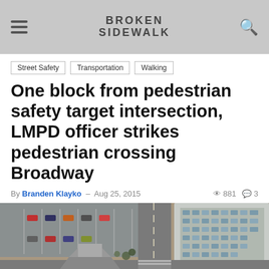BROKEN SIDEWALK
Street Safety
Transportation
Walking
One block from pedestrian safety target intersection, LMPD officer strikes pedestrian crossing Broadway
By Branden Klayko - Aug 25, 2015  881  3
[Figure (photo): Aerial view of an urban intersection with a warning triangle symbol overlaid, showing parking lots, a large office building, and city streets.]